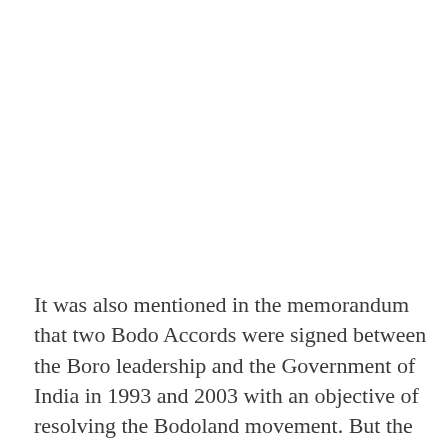It was also mentioned in the memorandum that two Bodo Accords were signed between the Boro leadership and the Government of India in 1993 and 2003 with an objective of resolving the Bodoland movement. But the Boro people could not be happy on the ground that both the accords were only development oriented and failed to